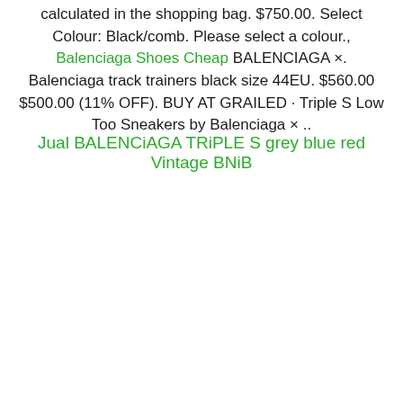calculated in the shopping bag. $750.00. Select Colour: Black/comb. Please select a colour., Balenciaga Shoes Cheap BALENCIAGA ×. Balenciaga track trainers black size 44EU. $560.00 $500.00 (11% OFF). BUY AT GRAILED · Triple S Low Too Sneakers by Balenciaga × ..
Jual BALENCiAGA TRiPLE S grey blue red Vintage BNiB